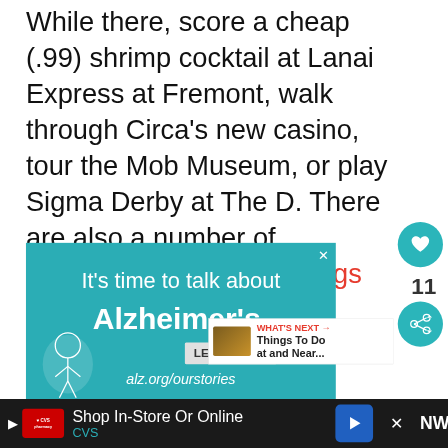While there, score a cheap (.99) shrimp cocktail at Lanai Express at Fremont, walk through Circa's new casino, tour the Mob Museum, or play Sigma Derby at The D. There are also a number of historically significant things worth checking out while downtown!
[Figure (screenshot): Advertisement banner for Alzheimer's awareness: teal background with text 'It's time to talk about Alzheimer's.' with a LEARN MORE button and alz.org/ourstories URL, plus an illustrated figure in the bottom left corner.]
[Figure (screenshot): UI sidebar elements: heart (like) button in teal circle, count '11', and share button in teal circle.]
[Figure (screenshot): What's Next panel showing a thumbnail image and text 'WHAT'S NEXT → Things To Do at and Near...']
[Figure (screenshot): Bottom black bar advertisement for CVS pharmacy: 'Shop In-Store Or Online' with CVS logo, navigation arrow icon, and close X button, plus WNYC-style logo on the right.]